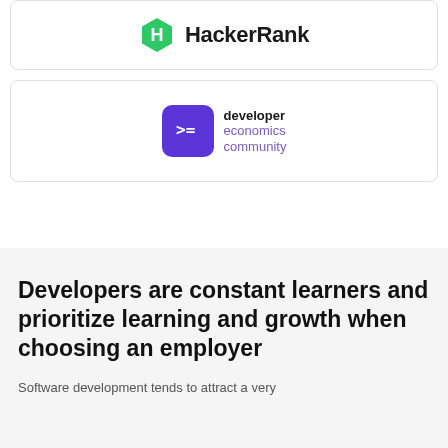[Figure (logo): HackerRank logo: green hexagon with white H, followed by text 'HackerRank']
[Figure (logo): Developer Economics Community logo: purple square icon with '>=' symbol, next to text 'developer economics community']
Developers are constant learners and prioritize learning and growth when choosing an employer
Software development tends to attract a very